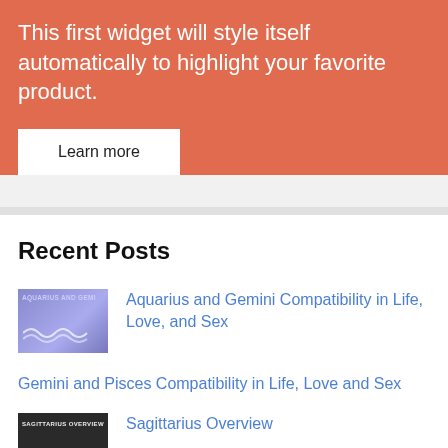This first widget will style itself automatically to highlight your favorite product.
Learn more
Recent Posts
[Figure (illustration): Aquarius and Gemini thumbnail: purple/blue gradient background with wavy lines and small text]
Aquarius and Gemini Compatibility in Life, Love, and Sex
Gemini and Pisces Compatibility in Life, Love and Sex
[Figure (illustration): Sagittarius overview thumbnail: dark background with white text]
Sagittarius Overview